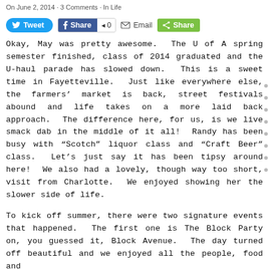On June 2, 2014 · 3 Comments · In Life
[Figure (other): Social sharing buttons: Tweet (Twitter), Share (Facebook) with count 0, Email, Share (green)]
Okay, May was pretty awesome.  The U of A spring semester finished, class of 2014 graduated and the U-haul parade has slowed down.  This is a sweet time in Fayetteville.  Just like everywhere else, the farmers' market is back, street festivals abound and life takes on a more laid back approach.  The difference here, for us, is we live smack dab in the middle of it all!  Randy has been busy with “Scotch” liquor class and “Craft Beer” class.  Let’s just say it has been tipsy around here!  We also had a lovely, though way too short, visit from Charlotte.  We enjoyed showing her the slower side of life.
To kick off summer, there were two signature events that happened.  The first one is The Block Party on, you guessed it, Block Avenue.  The day turned off beautiful and we enjoyed all the people, food and